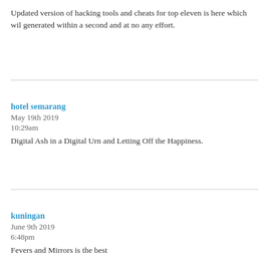Updated version of hacking tools and cheats for top eleven is here which wil generated within a second and at no any effort.
hotel semarang
May 19th 2019
10:29am
Digital Ash in a Digital Urn and Letting Off the Happiness.
kuningan
June 9th 2019
6:48pm
Fevers and Mirrors is the best